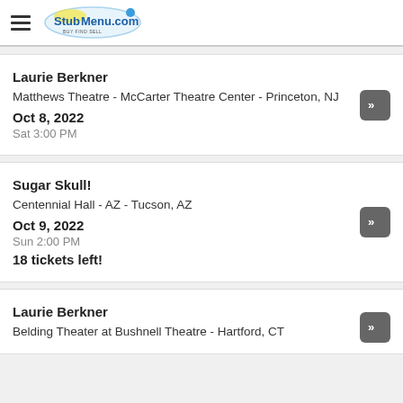StubMenu.com
Laurie Berkner | Matthews Theatre - McCarter Theatre Center - Princeton, NJ | Oct 8, 2022 | Sat 3:00 PM
Sugar Skull! | Centennial Hall - AZ - Tucson, AZ | Oct 9, 2022 | Sun 2:00 PM | 18 tickets left!
Laurie Berkner | Belding Theater at Bushnell Theatre - Hartford, CT